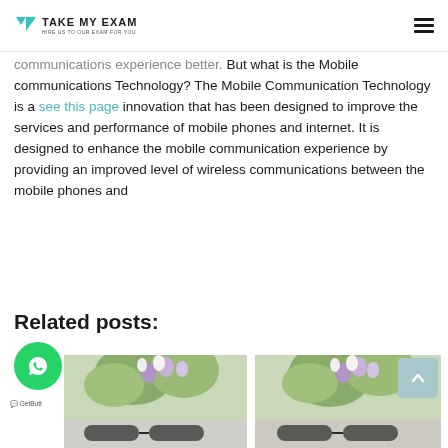TAKE MY EXAM
communications experience better. But what is the Mobile communications Technology? The Mobile Communication Technology is a see this page innovation that has been designed to improve the services and performance of mobile phones and internet. It is designed to enhance the mobile communication experience by providing an improved level of wireless communications between the mobile phones and
Related posts:
[Figure (photo): Two thumbnail images of flowers (lilac/white) with glasses, used as related post thumbnails]
[Figure (illustration): WhatsApp contact button (green circle with phone icon) and GetButton label]